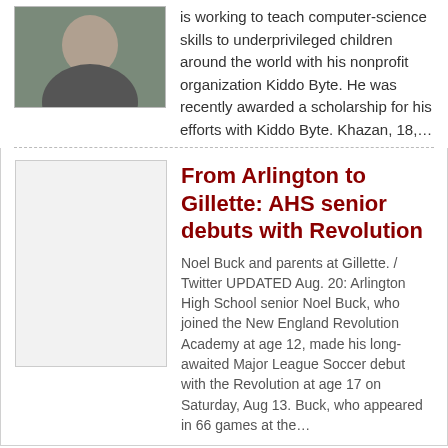is working to teach computer-science skills to underprivileged children around the world with his nonprofit organization Kiddo Byte. He was recently awarded a scholarship for his efforts with Kiddo Byte. Khazan, 18,…
From Arlington to Gillette: AHS senior debuts with Revolution
Noel Buck and parents at Gillette. / Twitter UPDATED Aug. 20: Arlington High School senior Noel Buck, who joined the New England Revolution Academy at age 12, made his long-awaited Major League Soccer debut with the Revolution at age 17 on Saturday, Aug 13. Buck, who appeared in 66 games at the…
Housing Authority
Fatal Chestnut Manor fire ruled